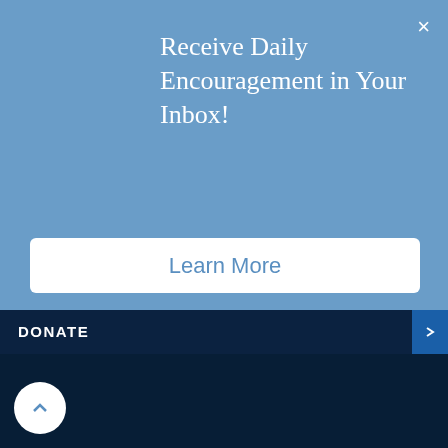Receive Daily Encouragement in Your Inbox!
Learn More
DONATE
INSIGHTS DELIVERED TO YOUR INBOX
First Name*
Last Name*
Email Address*
Alistair Begg Daily Devotional & Program
Spurgeon Daily Devotional & Program
Weekly Program & Blog Recap from TFL